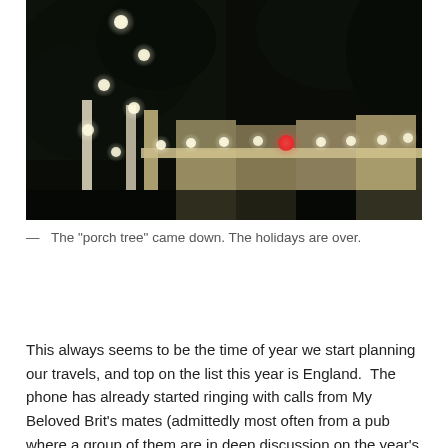[Figure (photo): Nighttime photo of a porch decorated with string lights on a tree and along a fence railing. The scene is dark with warm glowing bulbs creating a holiday atmosphere. A red ornament is visible near the fence.]
— The "porch tree" came down. The holidays are over.
This always seems to be the time of year we start planning our travels, and top on the list this year is England.  The phone has already started ringing with calls from My Beloved Brit's mates (admittedly most often from a pub where a group of them are in deep discussion on the year's sailing strategy) trying to talk him in to joining this boat or that on a very